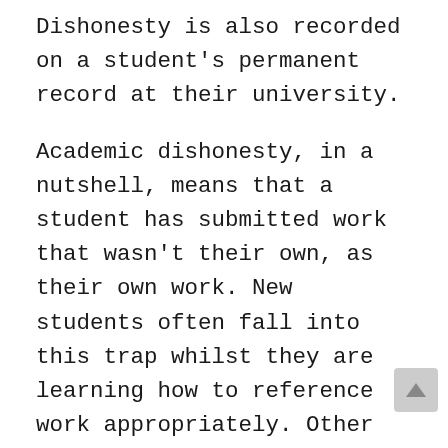Dishonesty is also recorded on a student's permanent record at their university.
Academic dishonesty, in a nutshell, means that a student has submitted work that wasn't their own, as their own work. New students often fall into this trap whilst they are learning how to reference work appropriately. Other ways that students can be accused of academic dishonesty are: by submitting group discussion work as the work of one student; or by colluding with other students on pieces of work. The College runs tutorials on referencing and